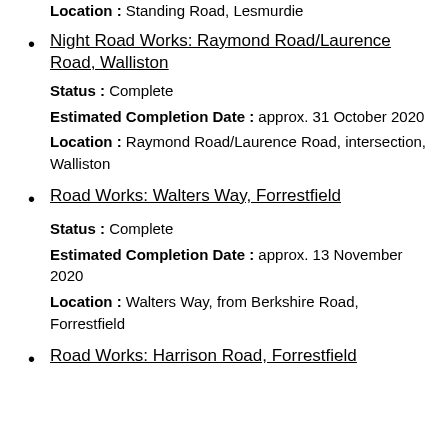Location : Standing Road, Lesmurdie
Night Road Works: Raymond Road/Laurence Road, Walliston
Status : Complete
Estimated Completion Date : approx. 31 October 2020
Location : Raymond Road/Laurence Road, intersection, Walliston
Road Works: Walters Way, Forrestfield
Status : Complete
Estimated Completion Date : approx. 13 November 2020
Location : Walters Way, from Berkshire Road, Forrestfield
Road Works: Harrison Road, Forrestfield